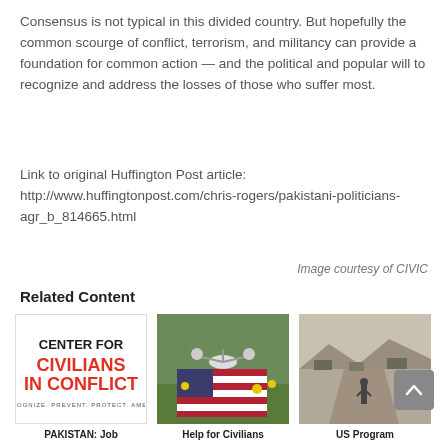Consensus is not typical in this divided country. But hopefully the common scourge of conflict, terrorism, and militancy can provide a foundation for common action — and the political and popular will to recognize and address the losses of those who suffer most.
Link to original Huffington Post article: http://www.huffingtonpost.com/chris-rogers/pakistani-politicians-agr_b_814665.html
Image courtesy of CIVIC
Related Content
[Figure (logo): Center for Civilians in Conflict logo — red and black text on white background]
[Figure (photo): Photo of a drone placed on an American flag with yellow flowers]
[Figure (photo): Photo of a soldier walking on a dusty road with military vehicles]
PAKISTAN: Job
Help for Civilians
US Program